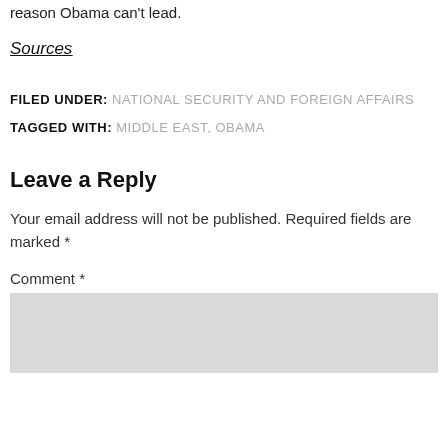reason Obama can't lead.
Sources
FILED UNDER: NATIONAL SECURITY AND FOREIGN AFFAIRS
TAGGED WITH: MIDDLE EAST, OBAMA
Leave a Reply
Your email address will not be published. Required fields are marked *
Comment *